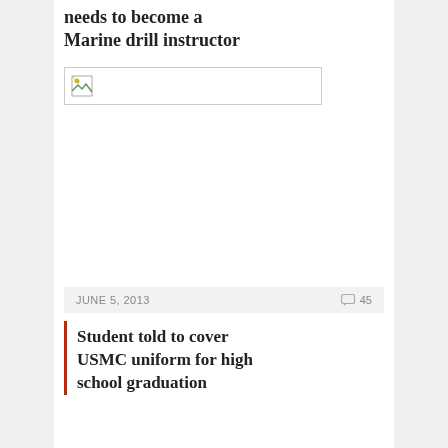needs to become a Marine drill instructor
[Figure (photo): Broken image placeholder thumbnail]
JUNE 5, 2013   45
Student told to cover USMC uniform for high school graduation
MAY 24, 2013   1
Video: Sounds of a drill instructor in training